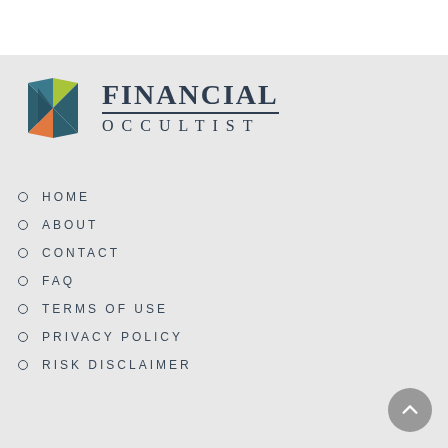[Figure (logo): Financial Occultist logo: a geometric diamond/owl shape in teal, yellow-green, orange, and dark teal colors, alongside the text 'FINANCIAL OCCULTIST' in serif font]
HOME
ABOUT
CONTACT
FAQ
TERMS OF USE
PRIVACY POLICY
RISK DISCLAIMER